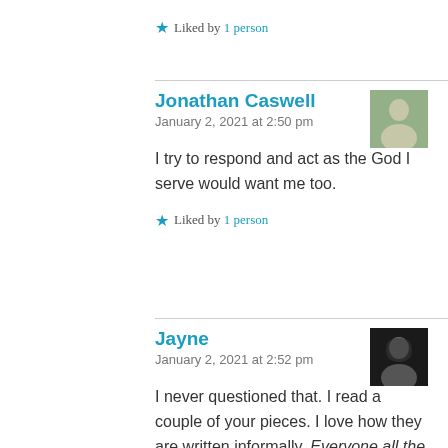★ Liked by 1 person
Jonathan Caswell
January 2, 2021 at 2:50 pm
I try to respond and act as the God I serve would want me too.
★ Liked by 1 person
Jayne
January 2, 2021 at 2:52 pm
I never questioned that. I read a couple of your pieces. I love how they are written informally. Everyone all the way!